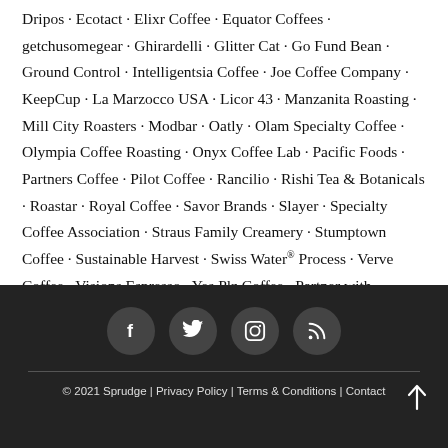Dripos · Ecotact · Elixr Coffee · Equator Coffees · getchusomegear · Ghirardelli · Glitter Cat · Go Fund Bean · Ground Control · Intelligentsia Coffee · Joe Coffee Company · KeepCup · La Marzocco USA · Licor 43 · Manzanita Roasting · Mill City Roasters · Modbar · Oatly · Olam Specialty Coffee · Olympia Coffee Roasting · Onyx Coffee Lab · Pacific Foods · Partners Coffee · Pilot Coffee · Rancilio · Rishi Tea & Botanicals · Roastar · Royal Coffee · Savor Brands · Slayer · Specialty Coffee Association · Straus Family Creamery · Stumptown Coffee · Sustainable Harvest · Swiss Water® Process · Verve Coffee · Visions Espresso · Yes Plz Coffee · Partner with Sprudge ❤
[Figure (other): Four circular social media icon buttons (Facebook, Twitter, Instagram, RSS) on dark background]
© 2021 Sprudge | Privacy Policy | Terms & Conditions | Contact